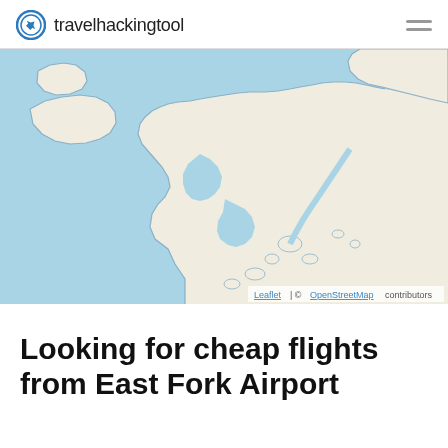travelhackingtool
[Figure (map): Leaflet map showing a coastal region with blue water areas and beige/cream land masses, appearing to show a complex coastline with inlets and islands. Attribution: Leaflet | © OpenStreetMap contributors]
Looking for cheap flights from East Fork Airport